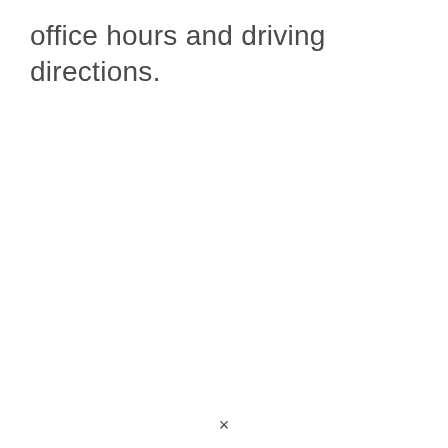office hours and driving directions.
×